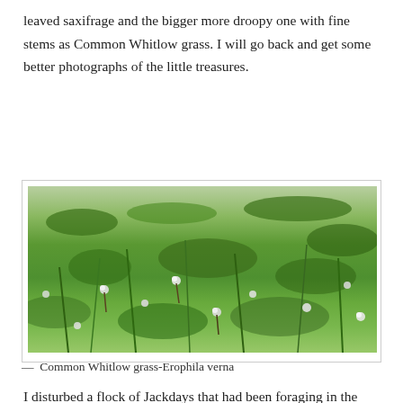leaved saxifrage and the bigger more droopy one with fine stems as Common Whitlow grass. I will go back and get some better photographs of the little treasures.
[Figure (photo): Photograph of Common Whitlow grass (Erophila verna) growing among green clifftop grass, showing small white flowers with fine stems scattered through the turf.]
— Common Whitlow grass-Erophila verna
I disturbed a flock of Jackdays that had been foraging in the clifftop grass. In my picture the buildings on the